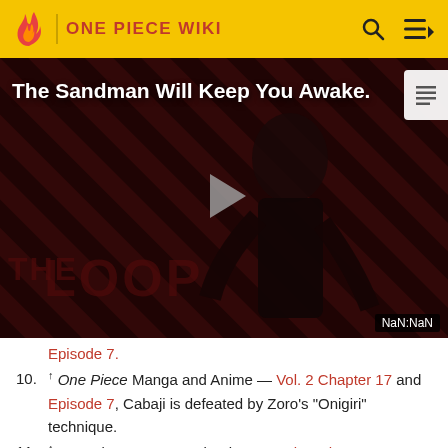ONE PIECE WIKI
[Figure (screenshot): Video player thumbnail showing 'The Sandman Will Keep You Awake.' with a dark-clothed figure on a diagonal striped background, a play button in the center, THE LOOP watermark at the bottom, and NaN:NaN timestamp.]
Episode 7.
10. ↑ One Piece Manga and Anime — Vol. 2 Chapter 17 and Episode 7, Cabaji is defeated by Zoro's "Onigiri" technique.
11. ↑ One Piece Manga and Anime — Vol. 5 Chapter 36,